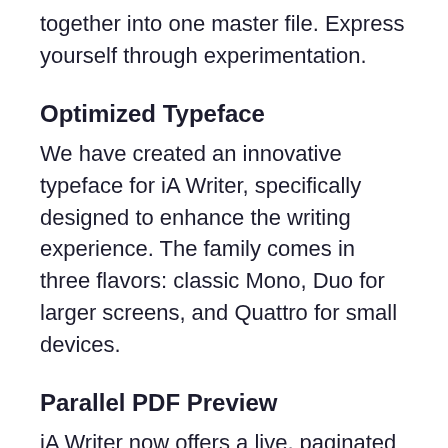together into one master file. Express yourself through experimentation.
Optimized Typeface
We have created an innovative typeface for iA Writer, specifically designed to enhance the writing experience. The family comes in three flavors: classic Mono, Duo for larger screens, and Quattro for small devices.
Parallel PDF Preview
iA Writer now offers a live, paginated PDF preview, parallel to the text you are